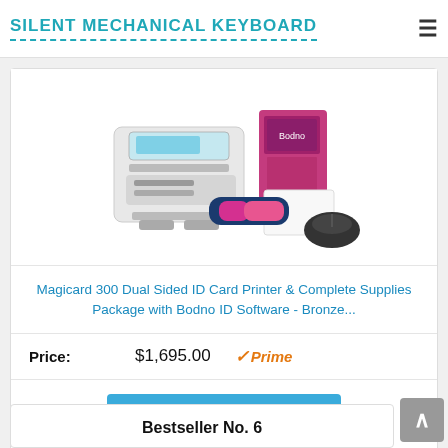SILENT MECHANICAL KEYBOARD
[Figure (photo): Magicard 300 ID card printer with accessories including color ribbon, software box, blank cards, and mouse]
Magicard 300 Dual Sided ID Card Printer & Complete Supplies Package with Bodno ID Software - Bronze...
Price: $1,695.00 ✓Prime
Buy on Amazon
Bestseller No. 6